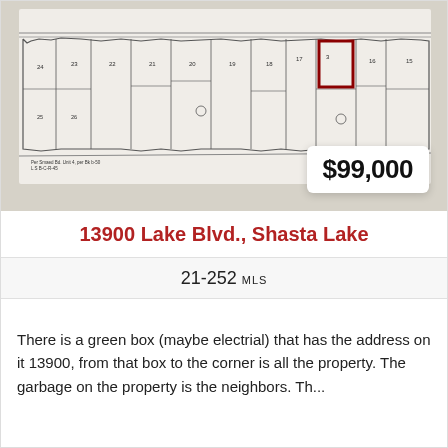[Figure (map): Assessor's parcel map showing a long narrow strip of land parcels along Lake Blvd, Shasta Lake. One parcel is highlighted with a red/dark border. Small text notes reference Assessor's Map and County of Shasta, Calif. Price badge showing $99,000 overlaid in bottom right.]
13900 Lake Blvd., Shasta Lake
21-252 MLS
There is a green box (maybe electrial) that has the address on it 13900, from that box to the corner is all the property. The garbage on the property is the neighbors. Th...